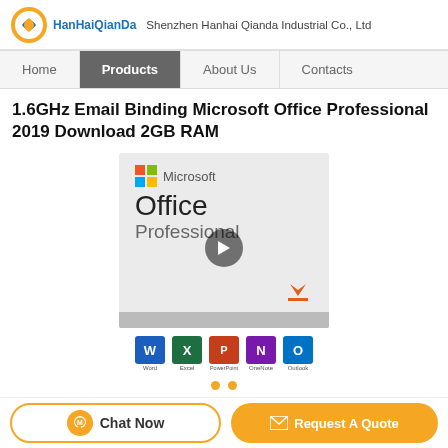HanHaiQianDa — Shenzhen Hanhai Qianda Industrial Co., Ltd
Home | Products | About Us | Contacts
1.6GHz Email Binding Microsoft Office Professional 2019 Download 2GB RAM
[Figure (screenshot): Microsoft Office Professional product box image with play button overlay and download arrow, and Office app icons (Word, Excel, PowerPoint, OneNote, Outlook) below]
Get Best Price | Contact Us
Chat Now | Request A Quote